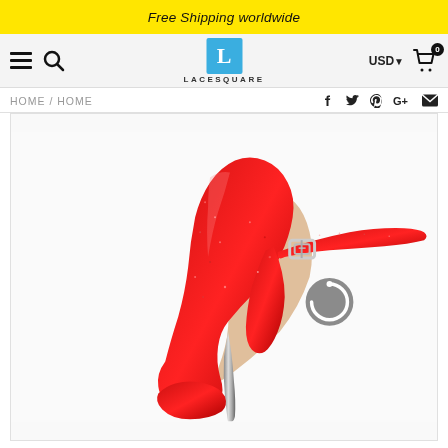Free Shipping worldwide
[Figure (screenshot): E-commerce website header for LACESQUARE with hamburger menu, search icon, logo, USD currency selector, and shopping cart icon showing 0 items]
HOME / HOME
[Figure (photo): Close-up photo of a red glitter high heel stiletto shoe with ankle strap and buckle, metallic gold stiletto heel, on a white background. A circular loading/zoom icon is visible in the center of the image.]